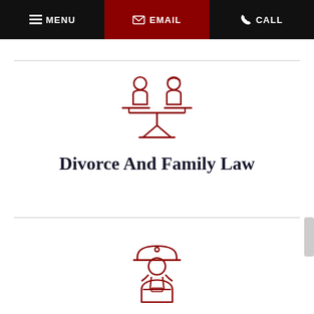MENU | EMAIL | CALL
[Figure (illustration): Red line icon of two people (man and woman) balanced on a scale, representing divorce and family law]
Divorce And Family Law
[Figure (illustration): Red line icon of a construction worker wearing a hard hat, representing construction law]
Construction Law